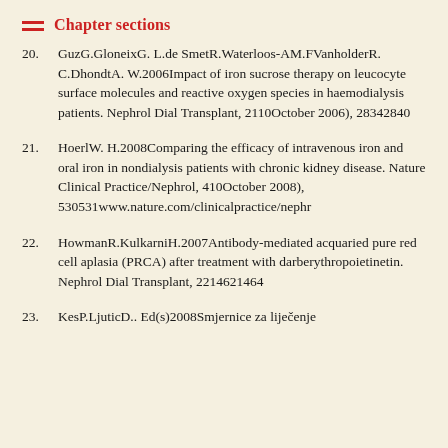Chapter sections
20. GuzG.GloneixG. L.de SmetR.Waterloos-AM.FVanholderR. C.DhondtA. W.2006Impact of iron sucrose therapy on leucocyte surface molecules and reactive oxygen species in haemodialysis patients. Nephrol Dial Transplant, 2110October 2006), 28342840
21. HoerlW. H.2008Comparing the efficacy of intravenous iron and oral iron in nondialysis patients with chronic kidney disease. Nature Clinical Practice/Nephrol, 410October 2008), 530531www.nature.com/clinicalpractice/nephr
22. HowmanR.KulkarniH.2007Antibody-mediated acquaried pure red cell aplasia (PRCA) after treatment with darberythropoietinetin. Nephrol Dial Transplant, 2214621464
23. KesP.LjuticD.. Ed(s)2008Smjernice za liječenje